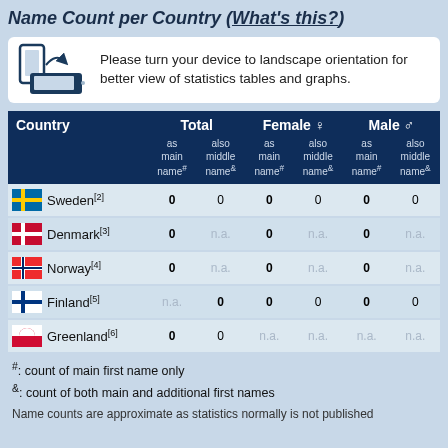Name Count per Country (What's this?)
Please turn your device to landscape orientation for better view of statistics tables and graphs.
| Country | Total as main name# | Total also middle name& | Female as main name# | Female also middle name& | Male as main name# | Male also middle name& |
| --- | --- | --- | --- | --- | --- | --- |
| Sweden[2] | 0 | 0 | 0 | 0 | 0 | 0 |
| Denmark[3] | 0 | n.a. | 0 | n.a. | 0 | n.a. |
| Norway[4] | 0 | n.a. | 0 | n.a. | 0 | n.a. |
| Finland[5] | n.a. | 0 | 0 | 0 | 0 | 0 |
| Greenland[6] | 0 | 0 | n.a. | n.a. | n.a. | n.a. |
#: count of main first name only
&: count of both main and additional first names
Name counts are approximate as statistics normally is not published